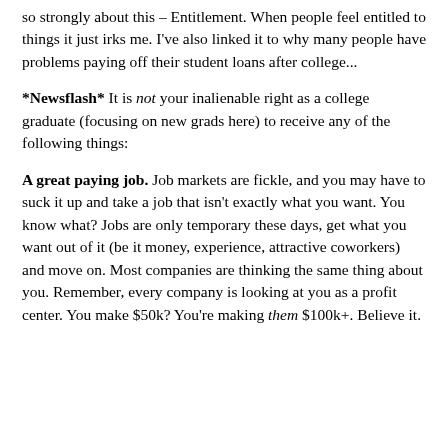so strongly about this – Entitlement. When people feel entitled to things it just irks me. I've also linked it to why many people have problems paying off their student loans after college...
*Newsflash* It is not your inalienable right as a college graduate (focusing on new grads here) to receive any of the following things:
A great paying job. Job markets are fickle, and you may have to suck it up and take a job that isn't exactly what you want. You know what? Jobs are only temporary these days, get what you want out of it (be it money, experience, attractive coworkers) and move on. Most companies are thinking the same thing about you. Remember, every company is looking at you as a profit center. You make $50k? You're making them $100k+. Believe it.